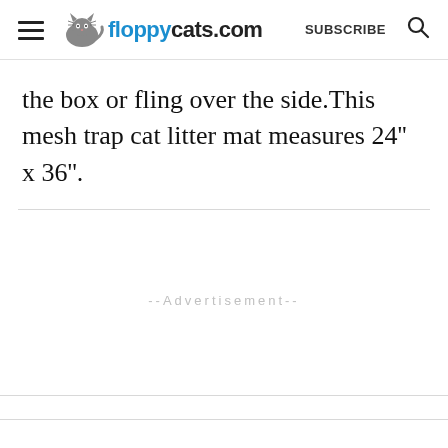floppycats.com  SUBSCRIBE
the box or fling over the side.This mesh trap cat litter mat measures 24'' x 36''.
--Advertisement--